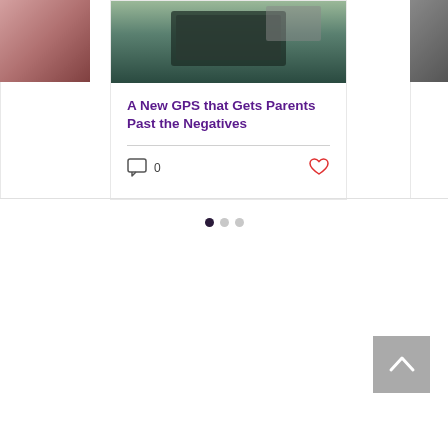[Figure (photo): Partial left card showing a dark reddish image (cropped blog post card)]
[Figure (photo): Center blog card with a car dashboard/GPS photo at top]
A New GPS that Gets Parents Past the Negatives
[Figure (other): Partial right card (cropped) showing a dark image]
[Figure (other): Pagination indicator with 3 dots, first dot active]
[Figure (other): Back to top button with upward chevron arrow]